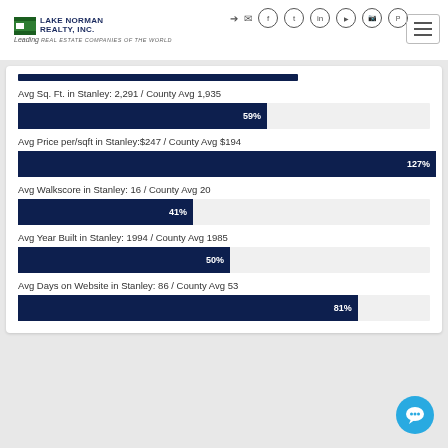Lake Norman Realty, Inc. — Leading Real Estate Companies of the World
[Figure (bar-chart): Stanley vs County Averages]